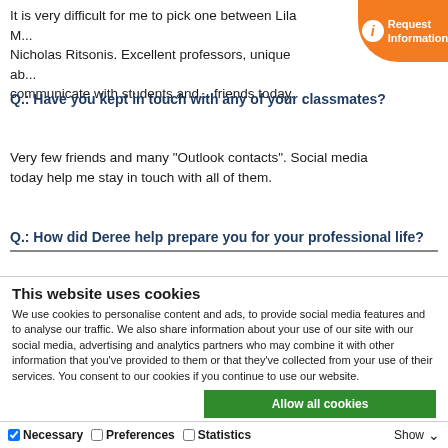It is very difficult for me to pick one between Lila M... Nicholas Ritsonis. Excellent professors, unique ab... communicate with students and... friends today.
[Figure (other): Orange circular badge with 'i' icon and text 'Request Information']
Q.: Have you kept in touch with any of your classmates?
Very few friends and many “Outlook contacts”. Social media today help me stay in touch with all of them.
Q.: How did Deree help prepare you for your professional life?
This website uses cookies
We use cookies to personalise content and ads, to provide social media features and to analyse our traffic. We also share information about your use of our site with our social media, advertising and analytics partners who may combine it with other information that you’ve provided to them or that they’ve collected from your use of their services. You consent to our cookies if you continue to use our website.
Allow all cookies
Allow selection
Use necessary cookies only
Necessary	Preferences	Statistics	Show